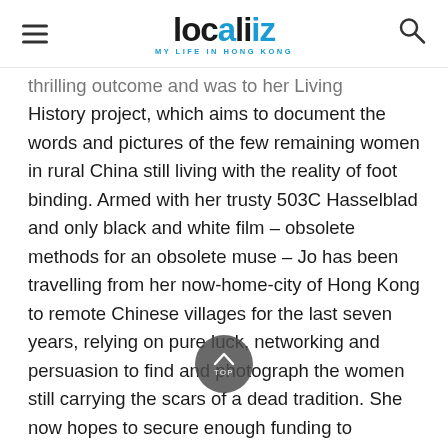localiiz · MY LIFE IN HONG KONG
...thrilling outcome... led to her Living History project, which aims to document the words and pictures of the few remaining women in rural China still living with the reality of foot binding. Armed with her trusty 503C Hasselblad and only black and white film – obsolete methods for an obsolete muse – Jo has been travelling from her now-home-city of Hong Kong to remote Chinese villages for the last seven years, relying on pure luck, networking and persuasion to find and photograph the women still carrying the scars of a dead tradition. She now hopes to secure enough funding to complete her mission and have her work included in museums, submitted to academia and made into a coffee table book. Speaking to Localiiz in a last-ditch effort to reach her Kickstarter goal of US$8,000 before June 15th, Jo explained why she is so passionate about the subject.